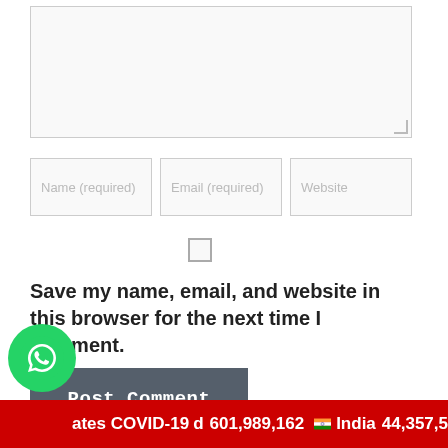[Figure (screenshot): Comment form textarea (empty, greyed out)]
[Figure (screenshot): Three input fields: Name (required), Email (required), Website]
[Figure (screenshot): Checkbox (unchecked)]
Save my name, email, and website in this browser for the next time I comment.
[Figure (screenshot): Post Comment button (dark grey)]
[Figure (map): Map area background (greyed out)]
ооооооооо-оооо
[Figure (logo): WhatsApp button (green circle with phone icon)]
ates COVID-19   d   601,989,162   India   44,357,5